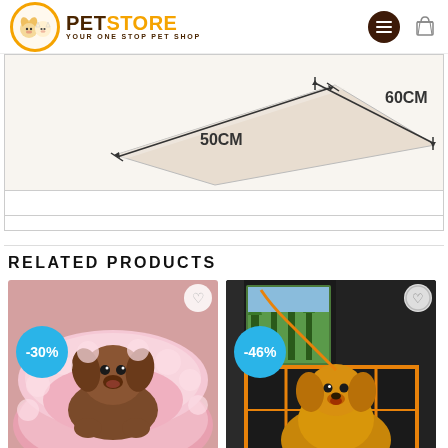PET STORE - YOUR ONE STOP PET SHOP
[Figure (photo): Product dimension diagram showing a pet bed/cushion with measurement arrows indicating 60CM width and 50CM depth]
RELATED PRODUCTS
[Figure (photo): A brown toy poodle dog sitting in a round pink fluffy pet bed, with a -30% discount badge]
[Figure (photo): A golden retriever dog in a car back seat with a black car seat cover/hammock, -46% discount badge]